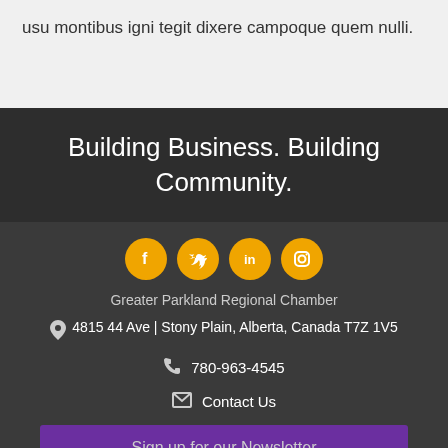usu montibus igni tegit dixere campoque quem nulli.
Building Business. Building Community.
[Figure (infographic): Four social media icons (Facebook, Twitter, LinkedIn, Instagram) as gold circles with white symbols]
Greater Parkland Regional Chamber
4815 44 Ave | Stony Plain, Alberta, Canada T7Z 1V5
780-963-4545
Contact Us
Sign up for our Newsletter